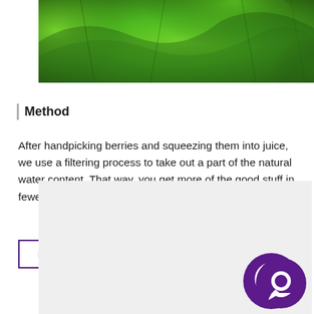[Figure (photo): Close-up photograph of green leaves, vivid green foliage filling the frame]
Method
After handpicking berries and squeezing them into juice, we use a filtering process to take out a part of the natural water content. That way, you get more of the good stuff in fewer gulps.
BUY SHOTS
[Figure (other): Gray placeholder box with a purple chat bubble icon in the bottom right corner]